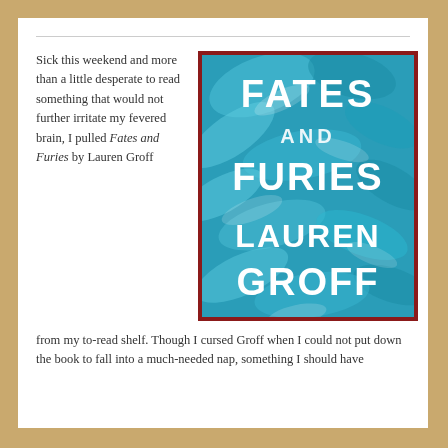Sick this weekend and more than a little desperate to read something that would not further irritate my fevered brain, I pulled Fates and Furies by Lauren Groff from my to-read shelf. Though I cursed Groff when I could not put down the book to fall into a much-needed nap, something I should have
[Figure (illustration): Book cover of 'Fates and Furies' by Lauren Groff. Dark red border around a teal/turquoise background with swirling feather-like patterns. Large bold white text reads: FATES AND FURIES LAUREN GROFF]